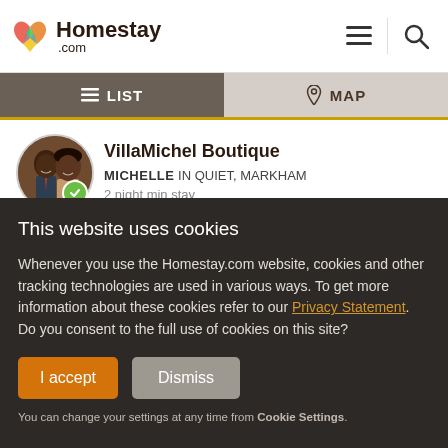Homestay.com
LIST   MAP
VillaMichel Boutique
MICHELLE IN QUIET, MARKHAM
2 night min stay
This website uses cookies
Whenever you use the Homestay.com website, cookies and other tracking technologies are used in various ways. To get more information about these cookies refer to our Privacy Statement. Do you consent to the full use of cookies on this site?
I accept   Dismiss
You can change your settings at any time from Cookie Settings.